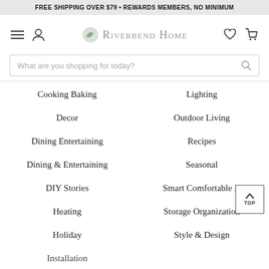FREE SHIPPING OVER $79 • REWARDS MEMBERS, NO MINIMUM
[Figure (logo): Riverbend Home logo with navigation icons (hamburger menu, user icon, heart, cart)]
What are you shopping for today?
Cooking Baking
Lighting
Decor
Outdoor Living
Dining Entertaining
Recipes
Dining & Entertaining
Seasonal
DIY Stories
Smart Comfortable H...
Heating
Storage Organization
Holiday
Style & Design
Installation